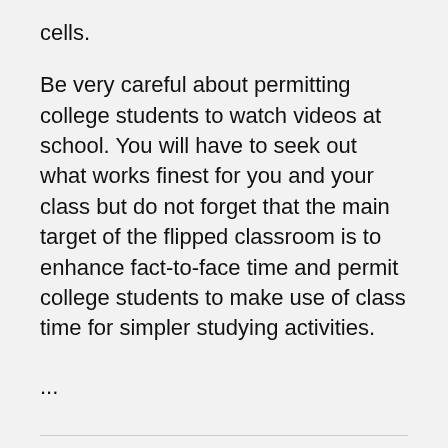cells.
Be very careful about permitting college students to watch videos at school. You will have to seek out what works finest for you and your class but do not forget that the main target of the flipped classroom is to enhance fact-to-face time and permit college students to make use of class time for simpler studying activities.
...